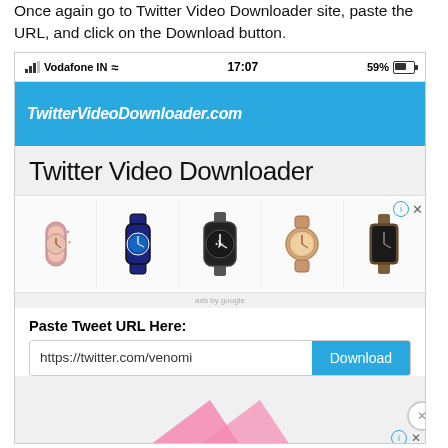Once again go to Twitter Video Downloader site, paste the URL, and click on the Download button.
[Figure (screenshot): Mobile browser screenshot showing TwitterVideoDownloader.com website with status bar showing Vodafone IN carrier, 17:07 time, 59% battery. The site displays 'Twitter Video Downloader' heading, an advertisement strip with watch images, and a URL input field with 'https://twitter.com/venomi' pre-filled and a 'Download' blue button. A partially visible second ad with a pink arrow is at the bottom.]